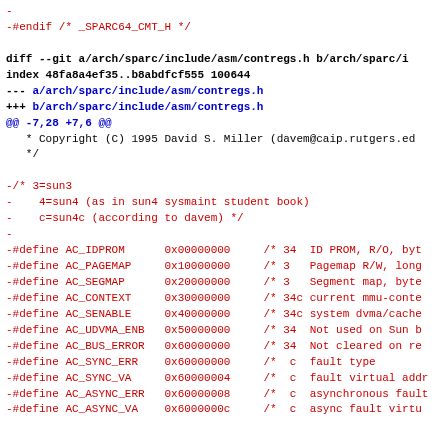-
-#endif /* _SPARC64_CMT_H */
diff --git a/arch/sparc/include/asm/contregs.h b/arch/sparc/i
index 48fa8a4ef35..b8abdfcf555 100644
--- a/arch/sparc/include/asm/contregs.h
+++ b/arch/sparc/include/asm/contregs.h
@@ -7,28 +7,6 @@
* Copyright (C) 1995 David S. Miller (davem@caip.rutgers.ed
*/
-/* 3=sun3
-    4=sun4 (as in sun4 sysmaint student book)
-    c=sun4c (according to davem) */
-
-#define AC_IDPROM      0x00000000     /* 34  ID PROM, R/O, byt
-#define AC_PAGEMAP     0x10000000     /* 3   Pagemap R/W, long
-#define AC_SEGMAP      0x20000000     /* 3   Segment map, byte
-#define AC_CONTEXT     0x30000000     /* 34c current mmu-conte
-#define AC_SENABLE     0x40000000     /* 34c system dvma/cache
-#define AC_UDVMA_ENB  0x50000000     /* 34  Not used on Sun b
-#define AC_BUS_ERROR  0x60000000     /* 34  Not cleared on re
-#define AC_SYNC_ERR   0x60000000     /*  c  fault type
-#define AC_SYNC_VA    0x60000004     /*  c  fault virtual addr
-#define AC_ASYNC_ERR  0x60000008     /*  c  asynchronous fault
-#define AC_ASYNC_VA   0x6000000c     /*  c  async fault virtu